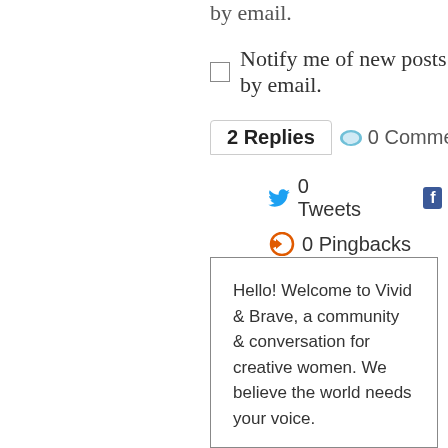by email.
☐ Notify me of new posts by email.
2 Replies   🗨 0 Comments
🐦 0 Tweets   f 2 Facebook
◀◀ 0 Pingbacks
last reply was june 9, 2015
Gretchen Tremoulet liked this
Marianne Wilson DeMeyers liked this
Hello! Welcome to Vivid & Brave, a community & conversation for creative women. We believe the world needs your voice.